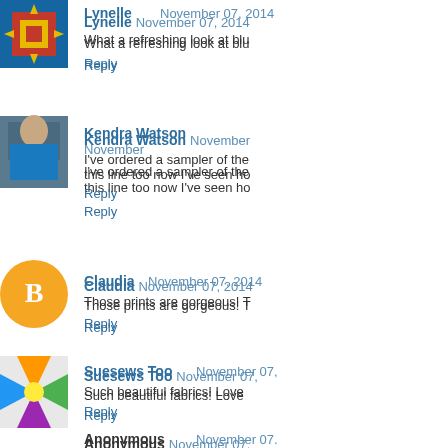Lynelle  November 07, 2014
What a refreshing look at blu
Reply
Kendra Watson  November
I've ordered a sampler of the this line too now I've seen ho
Reply
Claudia  November 07, 2014
Those prints are gorgeous! T
Reply
Suesews Too  November 07,
Such beautiful fabrics! Love
Reply
Anonymous  November 07,
Good to know that these mu